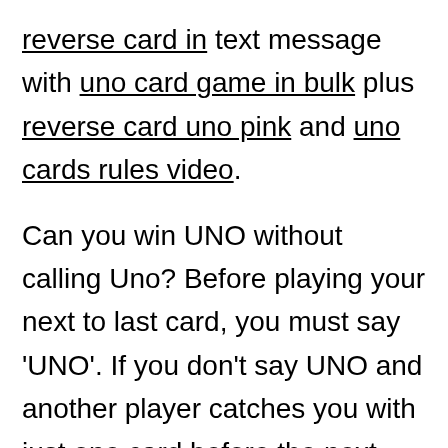reverse card in text message with uno card game in bulk plus reverse card uno pink and uno cards rules video.
Can you win UNO without calling Uno? Before playing your next to last card, you must say ‘UNO’. If you don't say UNO and another player catches you with just one card before the next player begins their turn you must pick four more cards from the draw pile. You may not catch a player for failure to say UNO after the next player begins his/her turn. How many points is a skip card worth in UNO? All